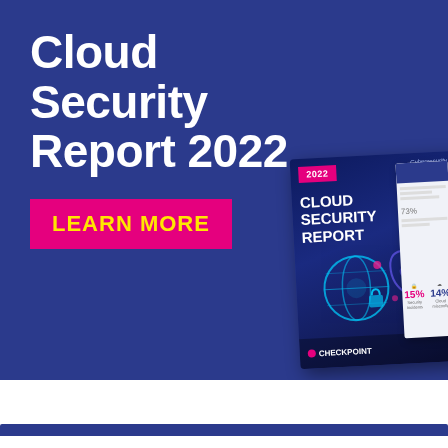[Figure (illustration): Dark blue banner background with Cloud Security Report 2022 title in white bold text, a pink LEARN MORE button with yellow text, and a 3D tilted book cover mockup of the 2022 Cloud Security Report by Check Point, with cybersecurity imagery including a globe and shield graphics in neon blue/pink colors.]
Cloud Security Report 2022
LEARN MORE
[Figure (illustration): Tilted report cover mockup showing '2022 CLOUD SECURITY REPORT' text with cybersecurity neon graphics (globe, shield, lock icons) on a dark blue background, Check Point logo at bottom.]